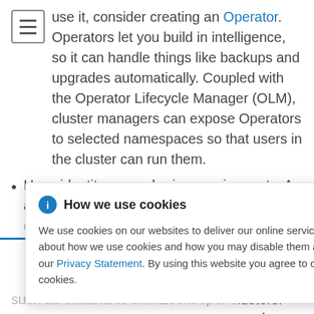use it, consider creating an Operator. Operators let you build in intelligence, so it can handle things like backups and upgrades automatically. Coupled with the Operator Lifecycle Manager (OLM), cluster managers can expose Operators to selected namespaces so that users in the cluster can run them.
Have identity or numbering requirements. An application might have identity requirements or ...
[Figure (screenshot): Cookie consent popup overlay with title 'How we use cookies', info icon, close X button, body text about cookie usage, Privacy Statement link, and agreement text.]